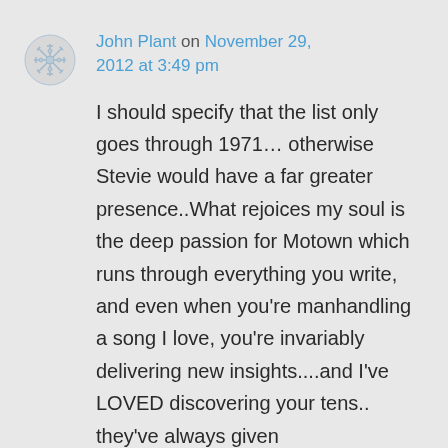John Plant on November 29, 2012 at 3:49 pm
I should specify that the list only goes through 1971… otherwise Stevie would have a far greater presence..What rejoices my soul is the deep passion for Motown which runs through everything you write, and even when you're manhandling a song I love, you're invariably delivering new insights....and I've LOVED discovering your tens.. they've always given